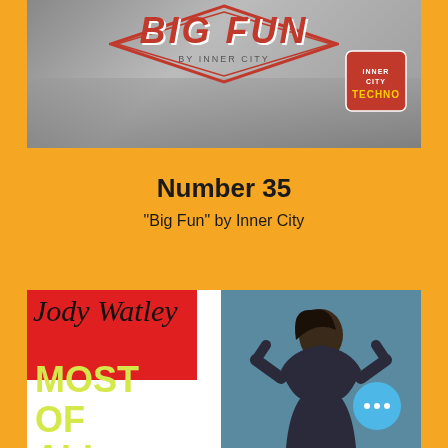[Figure (photo): Album cover for 'Big Fun' by Inner City — grey city skyline background with red stylized 'Big Fun' text and a Techno badge in upper right]
Number 35
"Big Fun" by Inner City
[Figure (photo): Album cover for Jody Watley 'Most Of All' — red background with Jody Watley signature in script, yellow block text 'Most Of All', and a photo of a woman posing]